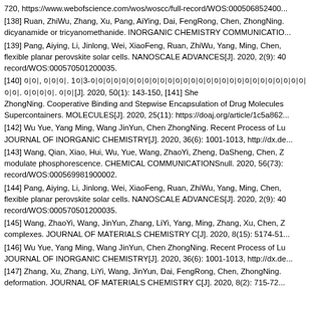720, https://www.webofscience.com/wos/woscc/full-record/WOS:000506852400...
[138] Ruan, ZhiWu, Zhang, Xu, Pang, AiYing, Dai, FengRong, Chen, ZhongNing. dicyanamide or tricyanomethanide. INORGANIC CHEMISTRY COMMUNICATIO...
[139] Pang, Aiying, Li, Jinlong, Wei, XiaoFeng, Ruan, ZhiWu, Yang, Ming, Chen, flexible planar perovskite solar cells. NANOSCALE ADVANCES[J]. 2020, 2(9): 40 record/WOS:000570501200035.
[140] 이이, 이이이. 1이3-이이이이이이이이이이이이이이이이이이이이이이이이이이이이이이. 이이이이. 이이[J]. 2020, 50(1): 143-150, [141] She ZhongNing. Cooperative Binding and Stepwise Encapsulation of Drug Molecules Supercontainers. MOLECULES[J]. 2020, 25(11): https://doaj.org/article/1c5a862...
[142] Wu Yue, Yang Ming, Wang JinYun, Chen ZhongNing. Recent Process of Lu JOURNAL OF INORGANIC CHEMISTRY[J]. 2020, 36(6): 1001-1013, http://dx.de...
[143] Wang, Qian, Xiao, Hui, Wu, Yue, Wang, ZhaoYi, Zheng, DaSheng, Chen, Z modulate phosphorescence. CHEMICAL COMMUNICATIONSnull. 2020, 56(73): record/WOS:000569981900002.
[144] Pang, Aiying, Li, Jinlong, Wei, XiaoFeng, Ruan, ZhiWu, Yang, Ming, Chen, flexible planar perovskite solar cells. NANOSCALE ADVANCES[J]. 2020, 2(9): 40 record/WOS:000570501200035.
[145] Wang, ZhaoYi, Wang, JinYun, Zhang, LiYi, Yang, Ming, Zhang, Xu, Chen, Z complexes. JOURNAL OF MATERIALS CHEMISTRY C[J]. 2020, 8(15): 5174-51...
[146] Wu Yue, Yang Ming, Wang JinYun, Chen ZhongNing. Recent Process of Lu JOURNAL OF INORGANIC CHEMISTRY[J]. 2020, 36(6): 1001-1013, http://dx.de...
[147] Zhang, Xu, Zhang, LiYi, Wang, JinYun, Dai, FengRong, Chen, ZhongNing. deformation. JOURNAL OF MATERIALS CHEMISTRY C[J]. 2020, 8(2): 715-72...